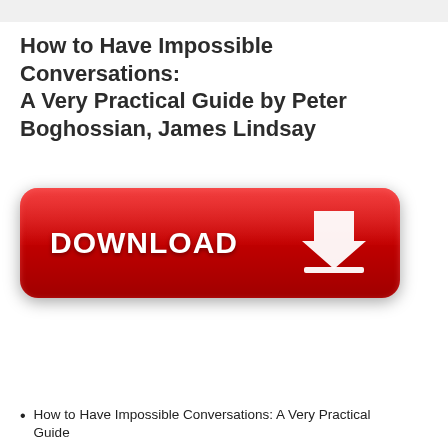How to Have Impossible Conversations: A Very Practical Guide by Peter Boghossian, James Lindsay
[Figure (other): A large red glossy download button with white bold text 'DOWNLOAD' and a white downward arrow/download icon, with a reflection effect below.]
How to Have Impossible Conversations: A Very Practical Guide